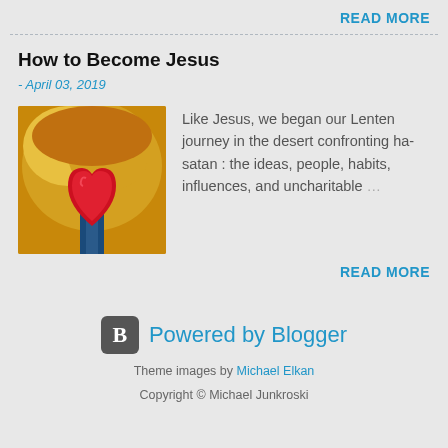READ MORE
How to Become Jesus
- April 03, 2019
[Figure (illustration): Painting of a red heart shape on a tree with golden/yellow background and blue trunk]
Like Jesus, we began our Lenten journey in the desert confronting ha-satan : the ideas, people, habits, influences, and uncharitable …
READ MORE
Powered by Blogger
Theme images by Michael Elkan
Copyright © Michael Junkroski